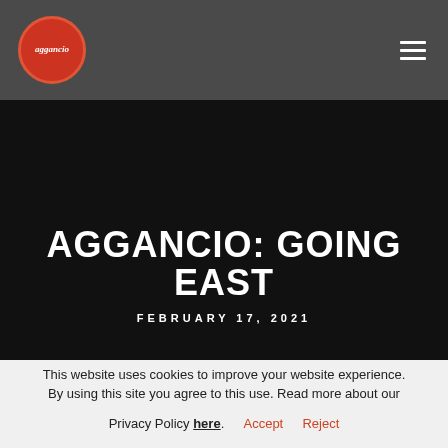aggancio [logo] — navigation bar with hamburger menu
AGGANCIO: GOING EAST
FEBRUARY 17, 2021
This website uses cookies to improve your website experience. By using this site you agree to this use. Read more about our Privacy Policy here. Accept Reject